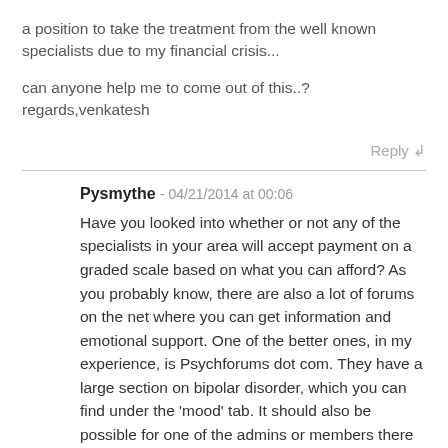a position to take the treatment from the well known specialists due to my financial crisis...
can anyone help me to come out of this..?
regards,venkatesh
Reply ↲
Pysmythe - 04/21/2014 at 00:06
Have you looked into whether or not any of the specialists in your area will accept payment on a graded scale based on what you can afford? As you probably know, there are also a lot of forums on the net where you can get information and emotional support. One of the better ones, in my experience, is Psychforums dot com. They have a large section on bipolar disorder, which you can find under the 'mood' tab. It should also be possible for one of the admins or members there to assist you in additional resources better than anyone here can.